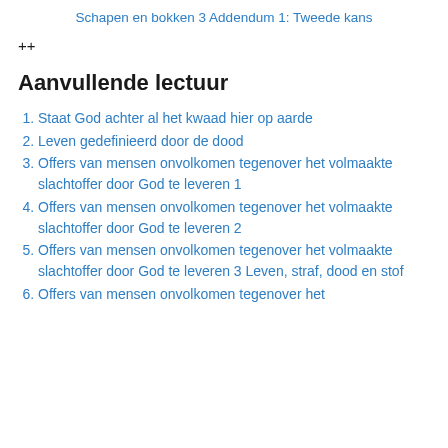Schapen en bokken 3 Addendum 1: Tweede kans
++
Aanvullende lectuur
Staat God achter al het kwaad hier op aarde
Leven gedefinieerd door de dood
Offers van mensen onvolkomen tegenover het volmaakte slachtoffer door God te leveren 1
Offers van mensen onvolkomen tegenover het volmaakte slachtoffer door God te leveren 2
Offers van mensen onvolkomen tegenover het volmaakte slachtoffer door God te leveren 3 Leven, straf, dood en stof
Offers van mensen onvolkomen tegenover het volmaakte slachtoffer door God te leveren 4 V…